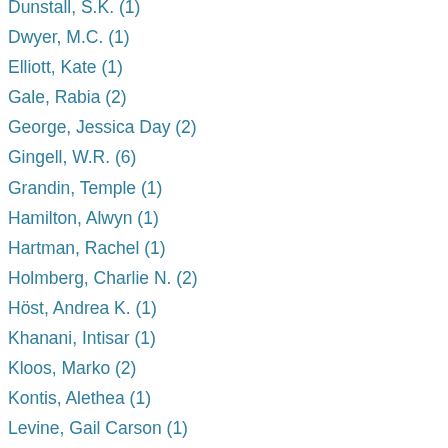Dunstall, S.K. (1)
Dwyer, M.C. (1)
Elliott, Kate (1)
Gale, Rabia (2)
George, Jessica Day (2)
Gingell, W.R. (6)
Grandin, Temple (1)
Hamilton, Alwyn (1)
Hartman, Rachel (1)
Holmberg, Charlie N. (2)
Höst, Andrea K. (1)
Khanani, Intisar (1)
Kloos, Marko (2)
Kontis, Alethea (1)
Levine, Gail Carson (1)
McShane, Melissa (16)
Mikalatos, Matt (1)
Miller, Rowenna (1)